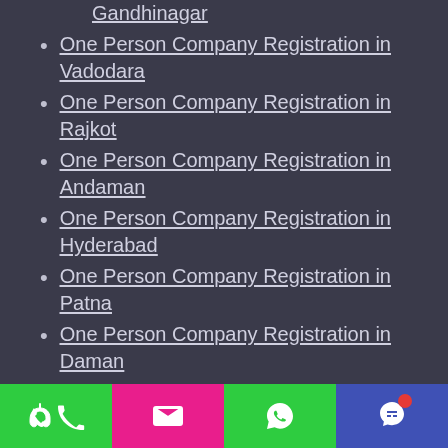Gandhinagar
One Person Company Registration in Vadodara
One Person Company Registration in Rajkot
One Person Company Registration in Andaman
One Person Company Registration in Hyderabad
One Person Company Registration in Patna
One Person Company Registration in Daman
One Person Company Registration in Diu
One Person Company Registration in Ranchi
One Person Company Registration in Bangalore
One Person Company Registration in M...